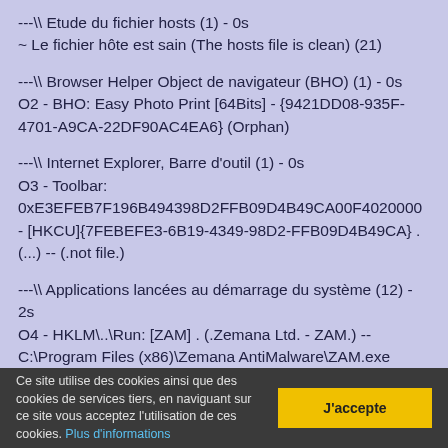---\\ Etude du fichier hosts (1) - 0s
~ Le fichier hôte est sain (The hosts file is clean) (21)
---\\ Browser Helper Object de navigateur (BHO) (1) - 0s
O2 - BHO: Easy Photo Print [64Bits] - {9421DD08-935F-4701-A9CA-22DF90AC4EA6} (Orphan)
---\\ Internet Explorer, Barre d'outil (1) - 0s
O3 - Toolbar: 0xE3EFEB7F196B494398D2FFB09D4B49CA00F4020000 - [HKCU]{7FEBEFE3-6B19-4349-98D2-FFB09D4B49CA} . (...) -- (.not file.)
---\\ Applications lancées au démarrage du système (12) - 2s
O4 - HKLM\..\Run: [ZAM] . (.Zemana Ltd. - ZAM.) -- C:\Program Files (x86)\Zemana AntiMalware\ZAM.exe =>.Zemana Ltd.®
O4 - HKCU\..\Run: [OneDrive] . (.Microsoft Corporation - Microsoft OneDrive.) -- C:\Users\Jean-
Ce site utilise des cookies ainsi que des cookies de services tiers, en naviguant sur ce site vous acceptez l'utilisation de ces cookies. Plus d'informations